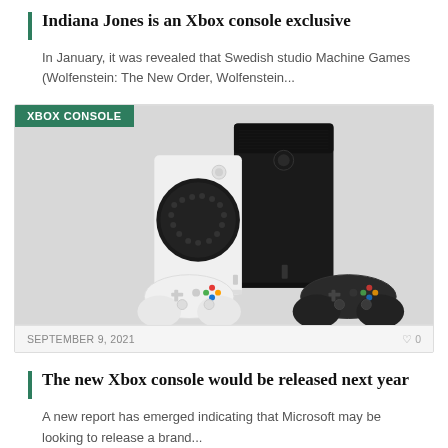Indiana Jones is an Xbox console exclusive
In January, it was revealed that Swedish studio Machine Games (Wolfenstein: The New Order, Wolfenstein...
[Figure (photo): Photo of Xbox Series S (white) and Xbox Series X (black) consoles with their controllers, on a light grey background. A green badge labeled 'XBOX CONSOLE' is overlaid at the top left.]
SEPTEMBER 9, 2021    0
The new Xbox console would be released next year
A new report has emerged indicating that Microsoft may be looking to release a brand...